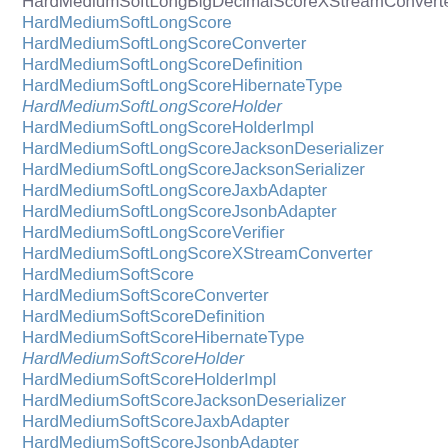HardMediumSoftLongScore
HardMediumSoftLongScoreConverter
HardMediumSoftLongScoreDefinition
HardMediumSoftLongScoreHibernateType
HardMediumSoftLongScoreHolder
HardMediumSoftLongScoreHolderImpl
HardMediumSoftLongScoreJacksonDeserializer
HardMediumSoftLongScoreJacksonSerializer
HardMediumSoftLongScoreJaxbAdapter
HardMediumSoftLongScoreJsonbAdapter
HardMediumSoftLongScoreVerifier
HardMediumSoftLongScoreXStreamConverter
HardMediumSoftScore
HardMediumSoftScoreConverter
HardMediumSoftScoreDefinition
HardMediumSoftScoreHibernateType
HardMediumSoftScoreHolder
HardMediumSoftScoreHolderImpl
HardMediumSoftScoreJacksonDeserializer
HardMediumSoftScoreJaxbAdapter
HardMediumSoftScoreJsonbAdapter
HardMediumSoftScoreJsonSerializer
HardMediumSoftScoreVerifier
HardMediumSoftScoreXStreamConverter
HardSoftBigDecimalScore
HardSoftBigDecimalScoreConverter
HardSoftBigDecimalScoreDefinition
HardSoftBigDecimalScoreHibernateType